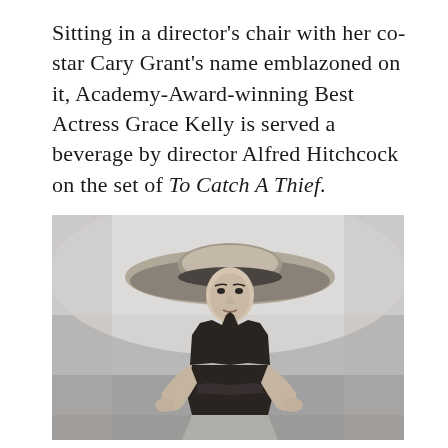Sitting in a director's chair with her co-star Cary Grant's name emblazoned on it, Academy-Award-winning Best Actress Grace Kelly is served a beverage by director Alfred Hitchcock on the set of To Catch A Thief.
[Figure (photo): Black and white photograph of a woman wearing a large wide-brimmed sun hat and a dark halter top, standing with hands on hips against a light background.]